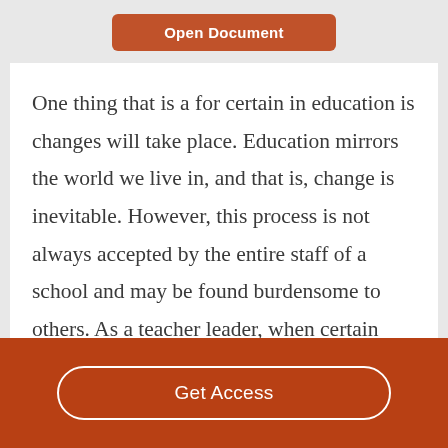Open Document
One thing that is a for certain in education is changes will take place. Education mirrors the world we live in, and that is, change is inevitable. However, this process is not always accepted by the entire staff of a school and may be found burdensome to others. As a teacher leader, when certain changes in the school take place regarding
Get Access